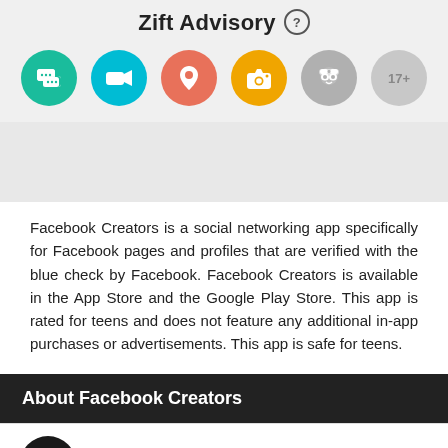Zift Advisory ?
[Figure (infographic): Row of six circular icons: teal chat bubbles, cyan video camera, salmon location pin, orange camera, gray spy/incognito face, gray 17+ age rating]
[Figure (infographic): Gray placeholder box]
Facebook Creators is a social networking app specifically for Facebook pages and profiles that are verified with the blue check by Facebook. Facebook Creators is available in the App Store and the Google Play Store. This app is rated for teens and does not feature any additional in-app purchases or advertisements.  This app is safe for teens.
About Facebook Creators
Category
N/A